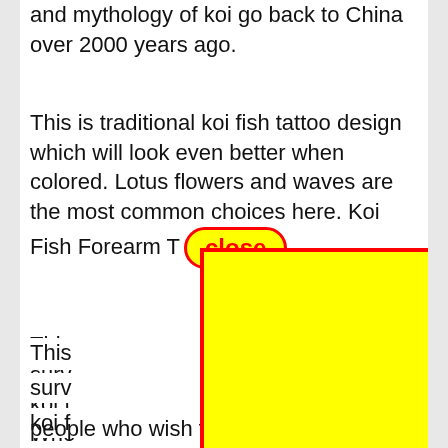and mythology of koi go back to China over 2000 years ago.
This is traditional koi fish tattoo design which will look even better when colored. Lotus flowers and waves are the most common choices here. Koi Fish Forearm T [close button]
[Figure (other): Yellow rectangle with red border overlaid on text, acting as a UI overlay/modal blocker]
This [obscured] surv[obscured] e koi f[obscured] ts. Whe[obscured] tatto[obscured] ther[obscured]
The[obscured] sh half [obscured] s on people who wish to have a tribal version of koi